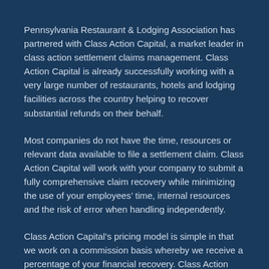Pennsylvania Restaurant & Lodging Association has partnered with Class Action Capital, a market leader in class action settlement claims management. Class Action Capital is already successfully working with a very large number of restaurants, hotels and lodging facilities across the country helping to recover substantial refunds on their behalf.
Most companies do not have the time, resources or relevant data available to file a settlement claim. Class Action Capital will work with your company to submit a fully comprehensive claim recovery while minimizing the use of your employees' time, internal resources and the risk of error when handling independently.
Class Action Capital's pricing model is simple in that we work on a commission basis whereby we receive a percentage of your financial recovery. Class Action Capital will also receive a fee after successful claim...